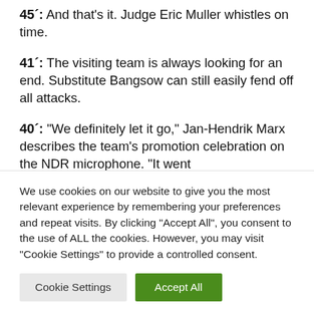45': And that's it. Judge Eric Muller whistles on time.
41': The visiting team is always looking for an end. Substitute Bangsow can still easily fend off all attacks.
40': "We definitely let it go," Jan-Hendrik Marx describes the team's promotion celebration on the NDR microphone. "It went
We use cookies on our website to give you the most relevant experience by remembering your preferences and repeat visits. By clicking "Accept All", you consent to the use of ALL the cookies. However, you may visit "Cookie Settings" to provide a controlled consent.